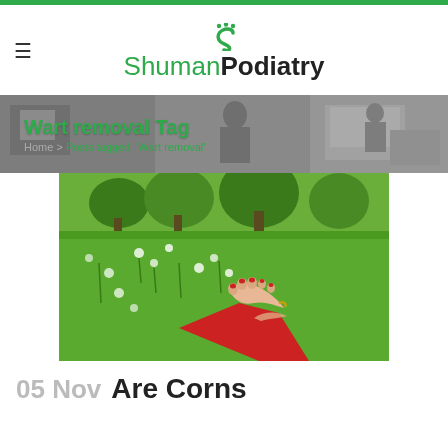[Figure (logo): Shuman Podiatry logo with green S-shaped foot icon and dots, text 'Shuman Podiatry' in green and black]
[Figure (photo): Banner image showing a medical clinic interior in grayscale with text overlay 'Wart removal Tag' and breadcrumb 'Home > Posts tagged: Wart removal']
[Figure (photo): Photo of bare feet with red-painted toenails and an ankle bracelet resting in a green meadow with wildflowers, person wearing red pants]
05 Nov Are Corns